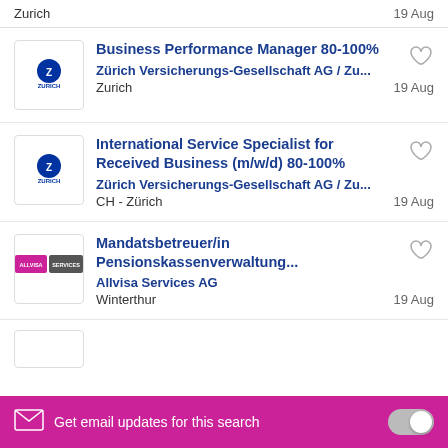Zurich   19 Aug
Business Performance Manager 80-100% | Zürich Versicherungs-Gesellschaft AG / Zu... | Zurich | 19 Aug
International Service Specialist for Received Business (m/w/d) 80-100% | Zürich Versicherungs-Gesellschaft AG / Zu... | CH - Zürich | 19 Aug
Mandatsbetreuer/in Pensionskassenverwaltung... | Allvisa Services AG | Winterthur | 19 Aug
Get email updates for this search